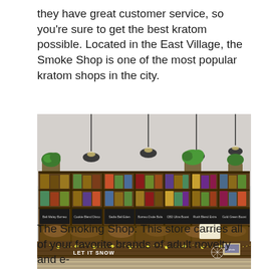they have great customer service, so you're sure to get the best kratom possible. Located in the East Village, the Smoke Shop is one of the most popular kratom shops in the city.
[Figure (photo): Interior of a smoke/kratom shop showing a long wooden display counter with many product boxes arranged on shelves behind it, pendant lights hanging from the ceiling, plants on top of the shelving units, and a 'LET IT SNOW' banner with string lights along the front of the counter.]
The Smoking Shop: This store carries all of your favorite brands of adult novelty and e-